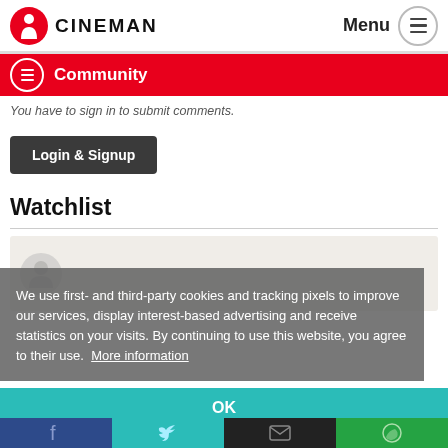CINEMAN | Menu
Community
You have to sign in to submit comments.
Login & Signup
Watchlist
[Figure (screenshot): User avatar placeholder circle on beige card background]
We use first- and third-party cookies and tracking pixels to improve our services, display interest-based advertising and receive statistics on your visits. By continuing to use this website, you agree to their use. More information
OK